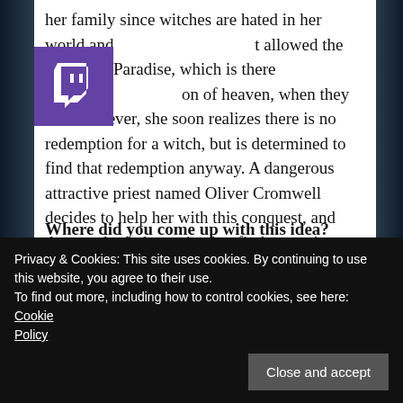[Figure (logo): Twitch logo — purple square with white speech bubble chat icon]
her family since witches are hated in her world and t allowed the chance at Paradise, which is there on of heaven, when they die. However, she soon realizes there is no redemption for a witch, but is determined to find that redemption anyway. A dangerous attractive priest named Oliver Cromwell decides to help her with this conquest, and they are both determined to find a way into Paradise.
Where did you come up with this idea?
I just knew I wanted to write about witches and convents. I had an obsession with witches as a child,
Privacy & Cookies: This site uses cookies. By continuing to use this website, you agree to their use.
To find out more, including how to control cookies, see here: Cookie Policy
the convent element because Amelia is a witch